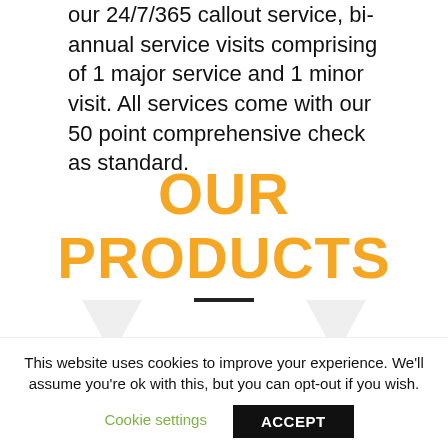our 24/7/365 callout service, bi-annual service visits comprising of 1 major service and 1 minor visit. All services come with our 50 point comprehensive check as standard.
OUR PRODUCTS
[Figure (illustration): Two faint downward-pointing arrow/chevron icons in light gray, decorative section dividers]
This website uses cookies to improve your experience. We'll assume you're ok with this, but you can opt-out if you wish.
Cookie settings   ACCEPT